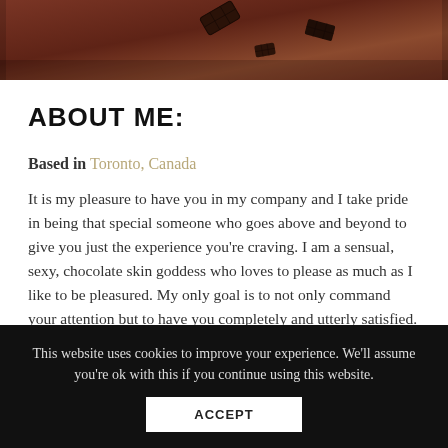[Figure (photo): Partial photo showing chocolate pieces on a dark reddish-brown surface, cropped at the top of the page]
ABOUT ME:
Based in Toronto, Canada
It is my pleasure to have you in my company and I take pride in being that special someone who goes above and beyond to give you just the experience you're craving. I am a sensual, sexy, chocolate skin goddess who loves to please as much as I like to be pleasured. My only goal is to not only command your attention but to have you completely and utterly satisfied. So leave your cares at
This website uses cookies to improve your experience. We'll assume you're ok with this if you continue using this website.
ACCEPT